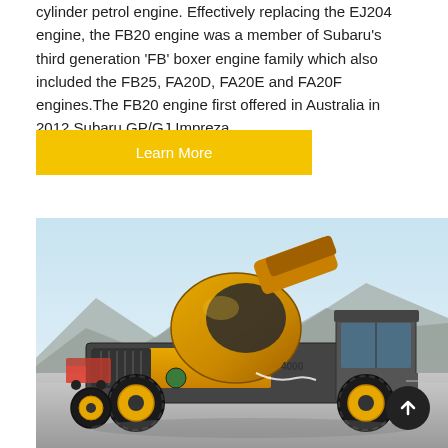cylinder petrol engine. Effectively replacing the EJ204 engine, the FB20 engine was a member of Subaru's third generation 'FB' boxer engine family which also included the FB25, FA20D, FA20E and FA20F engines.The FB20 engine first offered in Australia in 2012 Subaru GP/GJ Impreza.
Learn More
[Figure (photo): A yellow concrete mixer truck (self-loading type) photographed outdoors in a dusty terrain with mountains in the background and a light blue sky. The vehicle has large off-road tires with yellow rims, a rotating drum, and an enclosed cab on the right side.]